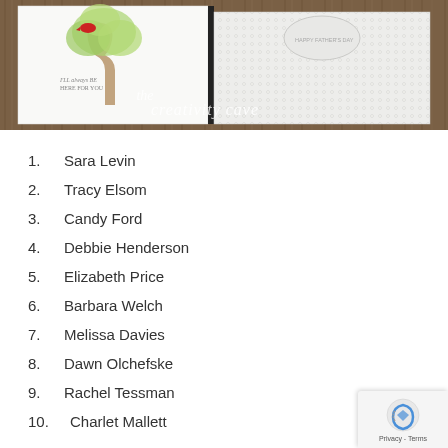[Figure (photo): Photo of handmade greeting cards displayed on a wooden table. Left card shows a tree with green leaves and a red bird, with text 'I'll always BE HERE FOR YOU'. Right card appears textured/embossed white. The Creativity Cave watermark overlaid on the image.]
1.   Sara Levin
2.   Tracy Elsom
3.   Candy Ford
4.   Debbie Henderson
5.   Elizabeth Price
6.   Barbara Welch
7.   Melissa Davies
8.   Dawn Olchefske
9.   Rachel Tessman
10.  Charlet Mallett